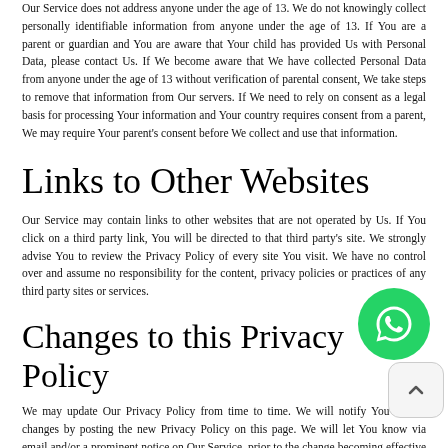Our Service does not address anyone under the age of 13. We do not knowingly collect personally identifiable information from anyone under the age of 13. If You are a parent or guardian and You are aware that Your child has provided Us with Personal Data, please contact Us. If We become aware that We have collected Personal Data from anyone under the age of 13 without verification of parental consent, We take steps to remove that information from Our servers. If We need to rely on consent as a legal basis for processing Your information and Your country requires consent from a parent, We may require Your parent's consent before We collect and use that information.
Links to Other Websites
Our Service may contain links to other websites that are not operated by Us. If You click on a third party link, You will be directed to that third party's site. We strongly advise You to review the Privacy Policy of every site You visit. We have no control over and assume no responsibility for the content, privacy policies or practices of any third party sites or services.
Changes to this Privacy Policy
We may update Our Privacy Policy from time to time. We will notify You of any changes by posting the new Privacy Policy on this page. We will let You know via email and/or a prominent notice on Our Service, prior to the change becoming effective and update the "Last updated" date at the top of this Privacy Policy. You are advised to review this Privacy Policy periodically for any